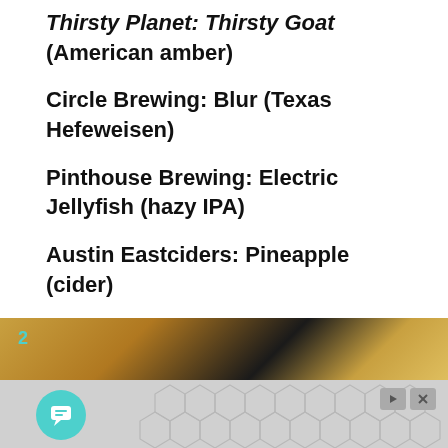Thirsty Planet: Thirsty Goat (American amber)
Circle Brewing: Blur (Texas Hefeweisen)
Pinthouse Brewing: Electric Jellyfish (hazy IPA)
Austin Eastciders: Pineapple (cider)
You can also find a few other options in cans: Texas Brewing Co. Amber, Zilker Parks & Rec pale ale, and Austin Beerworks Pearl Snap German pils.
[Figure (photo): Bottom portion of a page showing a dark/golden toned image (appears to be beer-related) with a number 2 badge in teal, partially visible. Below it is an advertisement banner with a hexagon pattern background in gray tones, play and close buttons, and a teal circular chat bubble icon on the left.]